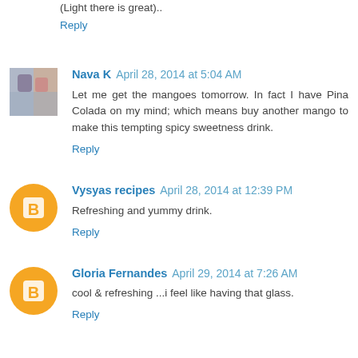(Light there is great)..
Reply
Nava K  April 28, 2014 at 5:04 AM
Let me get the mangoes tomorrow. In fact I have Pina Colada on my mind; which means buy another mango to make this tempting spicy sweetness drink.
Reply
Vysyas recipes  April 28, 2014 at 12:39 PM
Refreshing and yummy drink.
Reply
Gloria Fernandes  April 29, 2014 at 7:26 AM
cool & refreshing ...i feel like having that glass.
Reply